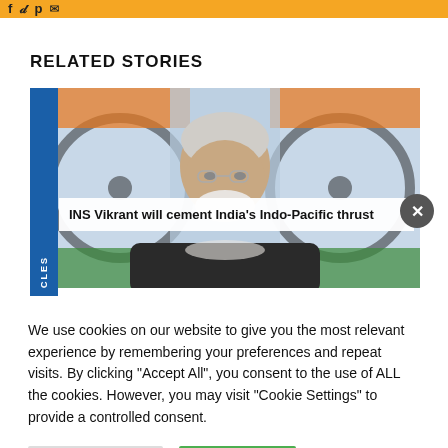social media icons / navigation
RELATED STORIES
[Figure (photo): Photo of Indian PM Narendra Modi with Indian flags (Ashoka Chakra) blurred in background]
INS Vikrant will cement India's Indo-Pacific thrust
We use cookies on our website to give you the most relevant experience by remembering your preferences and repeat visits. By clicking "Accept All", you consent to the use of ALL the cookies. However, you may visit "Cookie Settings" to provide a controlled consent.
Cookie Settings | Accept All